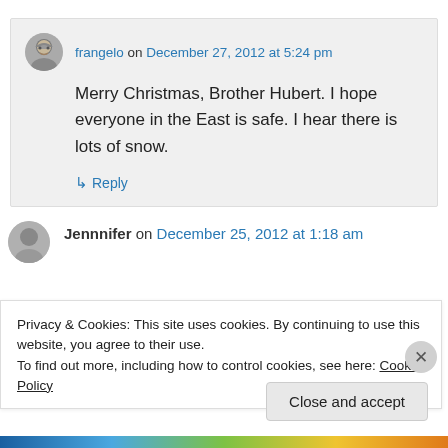frangelo on December 27, 2012 at 5:24 pm
Merry Christmas, Brother Hubert. I hope everyone in the East is safe. I hear there is lots of snow.
↳ Reply
Jennnifer on December 25, 2012 at 1:18 am
Privacy & Cookies: This site uses cookies. By continuing to use this website, you agree to their use.
To find out more, including how to control cookies, see here: Cookie Policy
Close and accept